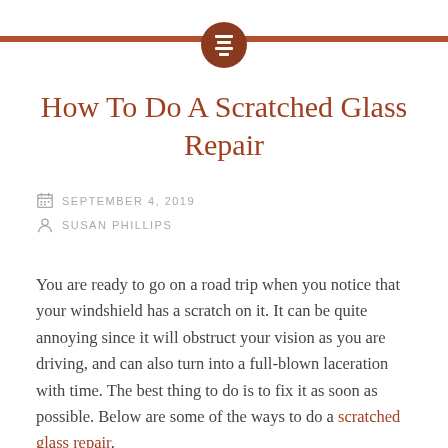How To Do A Scratched Glass Repair
SEPTEMBER 4, 2019
SUSAN PHILLIPS
You are ready to go on a road trip when you notice that your windshield has a scratch on it. It can be quite annoying since it will obstruct your vision as you are driving, and can also turn into a full-blown laceration with time. The best thing to do is to fix it as soon as possible. Below are some of the ways to do a scratched glass repair.